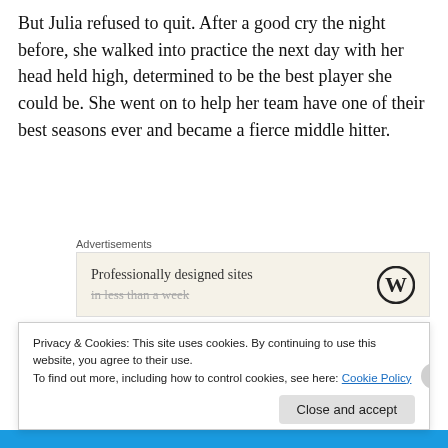But Julia refused to quit. After a good cry the night before, she walked into practice the next day with her head held high, determined to be the best player she could be. She went on to help her team have one of their best seasons ever and became a fierce middle hitter.
[Figure (other): Advertisement box with WordPress logo and text 'Professionally designed sites in less than a week']
“I WILL make Varsity next year,” she told Doug and me as we drove home from the last game of the season.
Privacy & Cookies: This site uses cookies. By continuing to use this website, you agree to their use. To find out more, including how to control cookies, see here: Cookie Policy